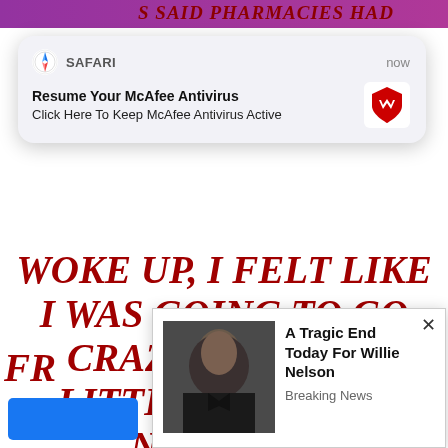[Figure (screenshot): Screenshot of a news article page overlaid with browser notification and ad popups]
S SAID PHARMACIES HAD
[Figure (screenshot): Safari browser notification popup: 'Resume Your McAfee Antivirus - Click Here To Keep McAfee Antivirus Active' with McAfee logo, timestamped 'now']
WOKE UP, I FELT LIKE I WAS GOING TO GO CRAZY. THIS IS A LITTLE TOO LATE NOW. THE GOVERNMENT'S MEASURES ARE NOT ENOUGH," SAID XIAO, 26, A PRIMARY SCHOOLTEACHER IN WUHAN, WHO ASKED NOT TO GIVE HER FULL
[Figure (screenshot): Ad popup with photo of elderly man (Willie Nelson) and text: 'A Tragic End Today For Willie Nelson - Breaking News']
FR... ND